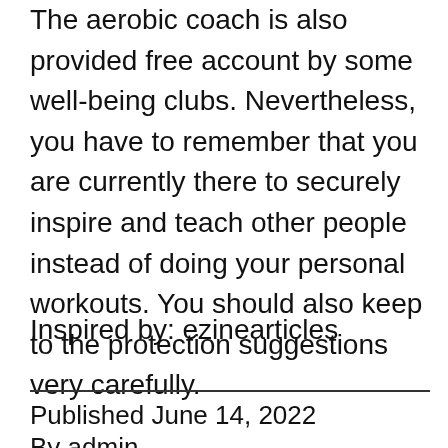The aerobic coach is also provided free account by some well-being clubs. Nevertheless, you have to remember that you are currently there to securely inspire and teach other people instead of doing your personal workouts. You should also keep to the protection suggestions very carefully.
Inspired by: ezinearticles
Published June 14, 2022
By admin